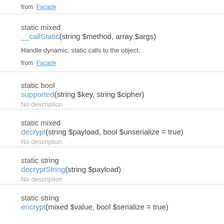from Facade
static mixed __callStatic(string $method, array $args)
Handle dynamic, static calls to the object.
from Facade
static bool supported(string $key, string $cipher)
No description
static mixed decrypt(string $payload, bool $unserialize = true)
No description
static string decryptString(string $payload)
No description
static string encrypt(mixed $value, bool $serialize = true)